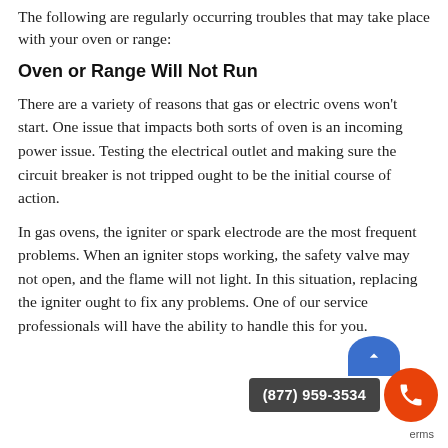The following are regularly occurring troubles that may take place with your oven or range:
Oven or Range Will Not Run
There are a variety of reasons that gas or electric ovens won't start. One issue that impacts both sorts of oven is an incoming power issue. Testing the electrical outlet and making sure the circuit breaker is not tripped ought to be the initial course of action.
In gas ovens, the igniter or spark electrode are the most frequent problems. When an igniter stops working, the safety valve may not open, and the flame will not light. In this situation, replacing the igniter ought to fix any problems. One of our service professionals will have the ability to handle this for you.